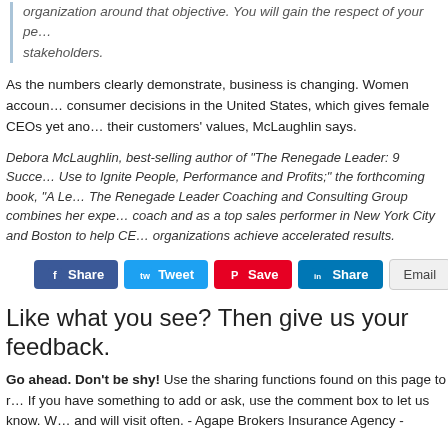organization around that objective. You will gain the respect of your pe… stakeholders.
As the numbers clearly demonstrate, business is changing. Women accoun… consumer decisions in the United States, which gives female CEOs yet ano… their customers' values, McLaughlin says.
Debora McLaughlin, best-selling author of "The Renegade Leader: 9 Succe… Use to Ignite People, Performance and Profits;" the forthcoming book, "A Le… The Renegade Leader Coaching and Consulting Group combines her expe… coach and as a top sales performer in New York City and Boston to help CE… organizations achieve accelerated results.
[Figure (other): Social sharing buttons row: Facebook Share, Twitter Tweet, Pinterest Save, LinkedIn Share, Email, and another share button]
Like what you see? Then give us your feedback.
Go ahead. Don't be shy! Use the sharing functions found on this page to r… If you have something to add or ask, use the comment box to let us know. W… and will visit often. - Agape Brokers Insurance Agency -